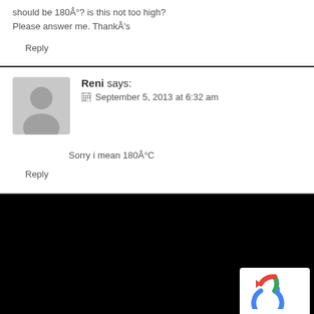should be 180Â°? is this not too high? Please answer me. ThankÂ's
Reply
Reni says: September 5, 2013 at 6:32 am
Sorry i mean 180Â°C
Reply